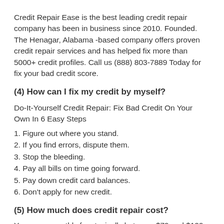Credit Repair Ease is the best leading credit repair company has been in business since 2010. Founded. The Henagar, Alabama -based company offers proven credit repair services and has helped fix more than 5000+ credit profiles. Call us (888) 803-7889 Today for fix your bad credit score.
(4) How can I fix my credit by myself?
Do-It-Yourself Credit Repair: Fix Bad Credit On Your Own In 6 Easy Steps
1. Figure out where you stand.
2. If you find errors, dispute them.
3. Stop the bleeding.
4. Pay all bills on time going forward.
5. Pay down credit card balances.
6. Don't apply for new credit.
(5) How much does credit repair cost?
You pay a monthly fee, typically between $79 and $129.